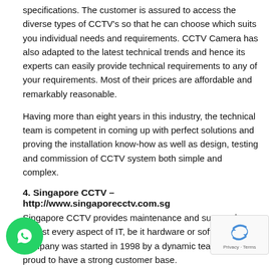specifications. The customer is assured to access the diverse types of CCTV's so that he can choose which suits you individual needs and requirements. CCTV Camera has also adapted to the latest technical trends and hence its experts can easily provide technical requirements to any of your requirements. Most of their prices are affordable and remarkably reasonable.
Having more than eight years in this industry, the technical team is competent in coming up with perfect solutions and proving the installation know-how as well as design, testing and commission of CCTV system both simple and complex.
4. Singapore CCTV – http://www.singaporecctv.com.sg
Singapore CCTV provides maintenance and support for almost every aspect of IT, be it hardware or software. The company was started in 1998 by a dynamic team and it is proud to have a strong customer base.
With more than fifteen years of experience, Singapore CCTV' experts are able to provide exactly what business consumers are looking for. The company have had a good reputation for its CCTV installation services in large enterprises in Singapore.